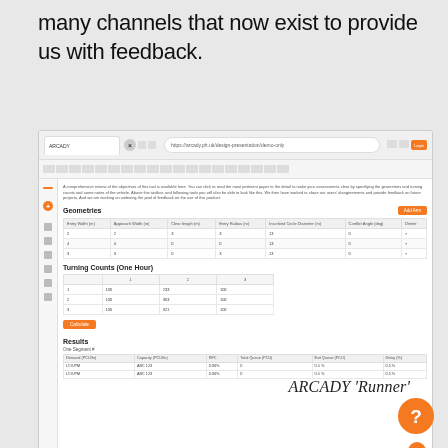many channels that now exist to provide us with feedback.
[Figure (screenshot): Screenshot of ARCADY 'Runner' web application showing a traffic analysis tool with Geometries and Turning Counts (One Hour) input tables, a Calculate button, and Results table with segment data including flows, capacities, and delays.]
ARCADY 'Runner'